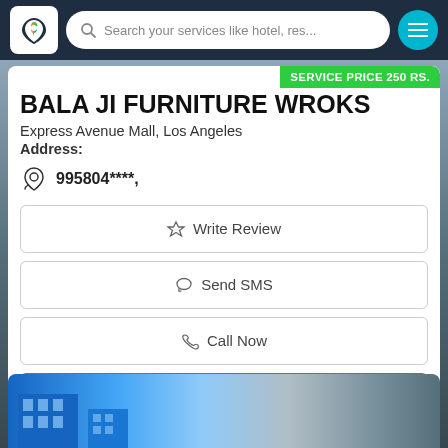Search your services like hotel, res...
SERVICE PRICE 250 RS.
BALA JI FURNITURE WROKS
Express Avenue Mall, Los Angeles
Address:
995804****,
Write Review
Send SMS
Call Now
$ Get Quotes
[Figure (photo): Building exterior photo at bottom of page]